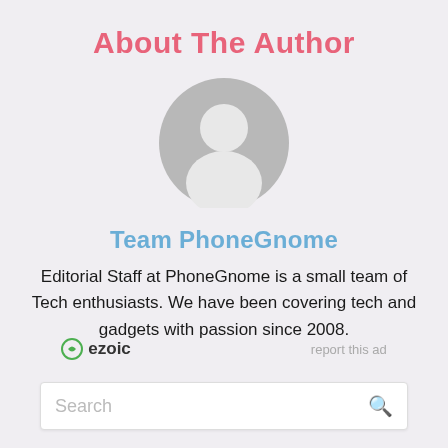About The Author
[Figure (illustration): Generic grey avatar/profile placeholder icon showing a silhouette of a person in a circle]
Team PhoneGnome
Editorial Staff at PhoneGnome is a small team of Tech enthusiasts. We have been covering tech and gadgets with passion since 2008.
[Figure (logo): Ezoic logo with circular icon and bold text 'ezoic', alongside 'report this ad' link]
Search